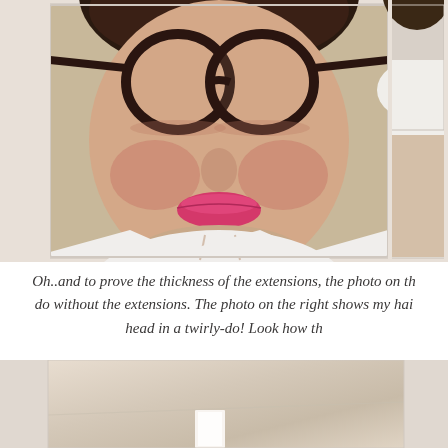[Figure (photo): Two photos side by side. Left photo: close-up selfie of a woman with dark round glasses and bright pink lipstick wearing a white top. Right photo (partial): another view, possibly showing hair or similar person.]
Oh..and to prove the thickness of the extensions, the photo on th do without the extensions. The photo on the right shows my hai head in a twirly-do! Look how th
[Figure (photo): Bottom photo partially visible, appears to show a room or hair-related image with beige/warm tones.]